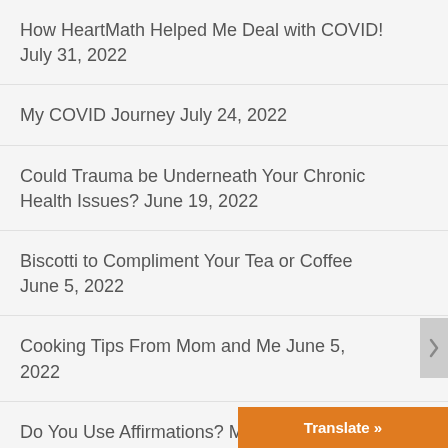How HeartMath Helped Me Deal with COVID! July 31, 2022
My COVID Journey July 24, 2022
Could Trauma be Underneath Your Chronic Health Issues? June 19, 2022
Biscotti to Compliment Your Tea or Coffee June 5, 2022
Cooking Tips From Mom and Me June 5, 2022
Do You Use Affirmations? May 29, 2022